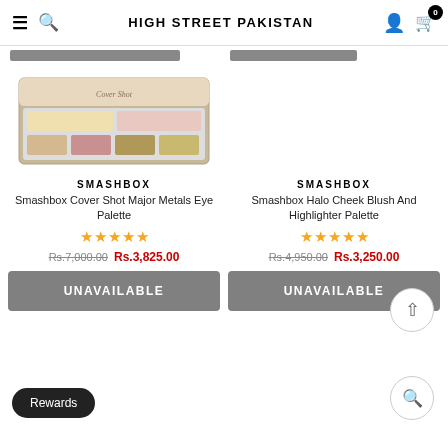HIGH STREET PAKISTAN
[Figure (photo): Smashbox Cover Shot Major Metals Eye Palette product image]
SMASHBOX
Smashbox Cover Shot Major Metals Eye Palette
★★★★★
Rs.7,000.00  Rs.3,825.00
UNAVAILABLE
SMASHBOX
Smashbox Halo Cheek Blush And Highlighter Palette
★★★★★
Rs.4,950.00  Rs.3,250.00
UNAVAILABLE
Rewards